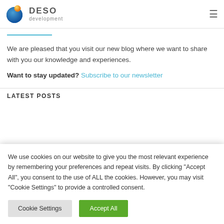DESO development
We are pleased that you visit our new blog where we want to share with you our knowledge and experiences.
Want to stay updated? Subscribe to our newsletter
LATEST POSTS
We use cookies on our website to give you the most relevant experience by remembering your preferences and repeat visits. By clicking "Accept All", you consent to the use of ALL the cookies. However, you may visit "Cookie Settings" to provide a controlled consent.